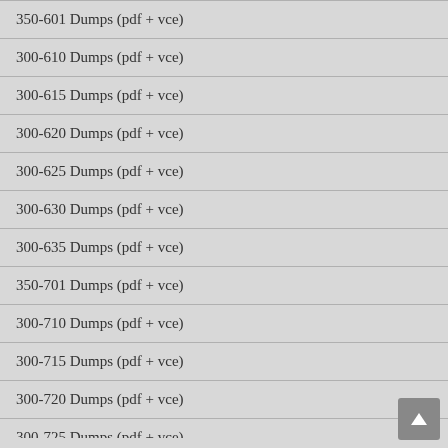350-601 Dumps (pdf + vce)
300-610 Dumps (pdf + vce)
300-615 Dumps (pdf + vce)
300-620 Dumps (pdf + vce)
300-625 Dumps (pdf + vce)
300-630 Dumps (pdf + vce)
300-635 Dumps (pdf + vce)
350-701 Dumps (pdf + vce)
300-710 Dumps (pdf + vce)
300-715 Dumps (pdf + vce)
300-720 Dumps (pdf + vce)
300-725 Dumps (pdf + vce)